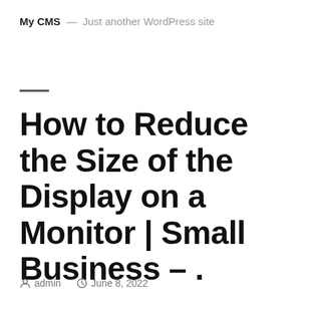My CMS — Just another WordPress site
How to Reduce the Size of the Display on a Monitor | Small Business – .
admin   June 8, 2022